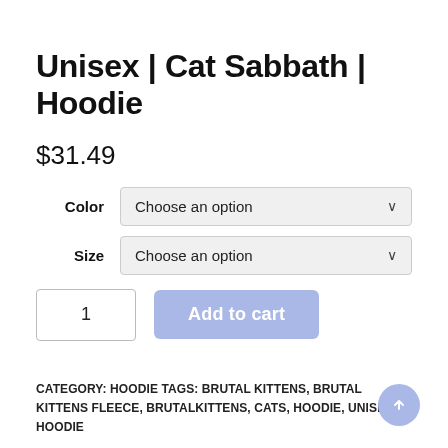Unisex | Cat Sabbath | Hoodie
$31.49
Color  Choose an option
Size  Choose an option
1  Add to cart
CATEGORY: HOODIE TAGS: BRUTAL KITTENS, BRUTAL KITTENS FLEECE, BRUTALKITTENS, CATS, HOODIE, UNISEX HOODIE